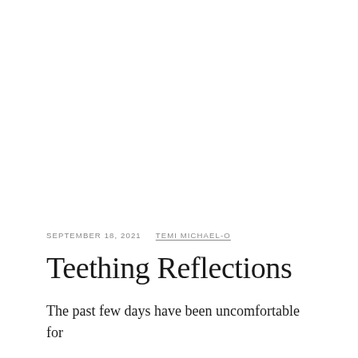SEPTEMBER 18, 2021  TEMI MICHAEL-O
Teething Reflections
The past few days have been uncomfortable for